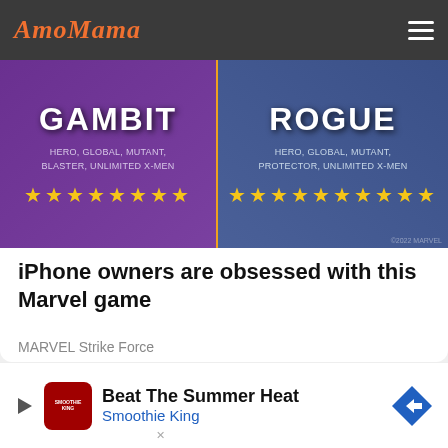AmoMama
[Figure (screenshot): Marvel Strike Force game promotional image showing two characters: GAMBIT (Hero, Global, Mutant, Blaster, Unlimited X-Men) with 8 yellow stars, and ROGUE (Hero, Global, Mutant, Protector, Unlimited X-Men) with 10 yellow stars. Split screen with orange/gold divider. Copyright 2022 Marvel.]
iPhone owners are obsessed with this Marvel game
MARVEL Strike Force
[Figure (screenshot): Advertisement banner: Beat The Summer Heat - Smoothie King, with play button, Smoothie King logo, and blue diamond arrow icon.]